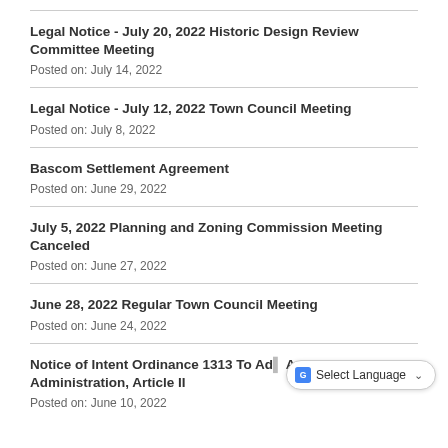Legal Notice - July 20, 2022 Historic Design Review Committee Meeting
Posted on: July 14, 2022
Legal Notice - July 12, 2022 Town Council Meeting
Posted on: July 8, 2022
Bascom Settlement Agreement
Posted on: June 29, 2022
July 5, 2022 Planning and Zoning Commission Meeting Canceled
Posted on: June 27, 2022
June 28, 2022 Regular Town Council Meeting
Posted on: June 24, 2022
Notice of Intent Ordinance 1313 To Ad... Amending Chapter 2 Administration, Article II
Posted on: June 10, 2022